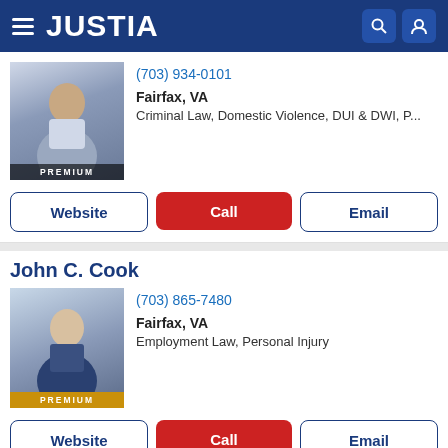JUSTIA
(703) 934-0101
Fairfax, VA
Criminal Law, Domestic Violence, DUI & DWI, P...
Website | Call | Email
John C. Cook
(703) 865-7480
Fairfax, VA
Employment Law, Personal Injury
Website | Call | Email